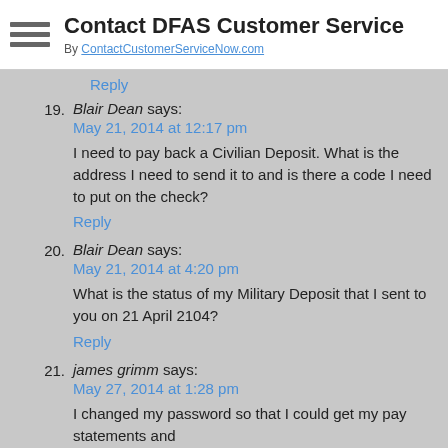Contact DFAS Customer Service
By ContactCustomerServiceNow.com
Reply
19. Blair Dean says:
May 21, 2014 at 12:17 pm
I need to pay back a Civilian Deposit. What is the address I need to send it to and is there a code I need to put on the check?
Reply
20. Blair Dean says:
May 21, 2014 at 4:20 pm
What is the status of my Military Deposit that I sent to you on 21 April 2104?
Reply
21. james grimm says:
May 27, 2014 at 1:28 pm
I changed my password so that I could get my pay statements and
now it says that I have to wait until the third or the